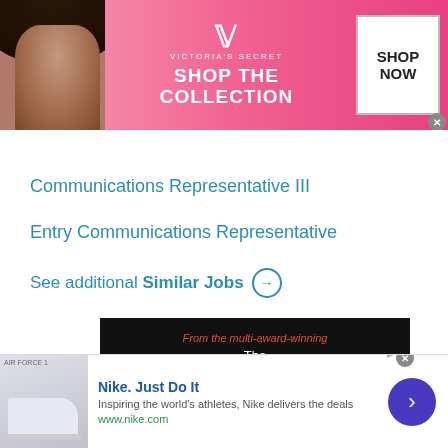[Figure (screenshot): Victoria's Secret advertisement banner with pink background, model photo, VS logo, 'SHOP THE COLLECTION' text, and 'SHOP NOW' button]
Communications Representative III
Entry Communications Representative
See additional Similar Jobs →
[Figure (screenshot): Dark advertisement for 'The Perspective' - From the multi-award-winning, showing playing cards]
This site uses cookies and other similar technologies to provide site functionality, analyze traffic and usage, and
[Figure (screenshot): Nike advertisement: Nike. Just Do It - Inspiring the world's athletes, Nike delivers the deals - www.nike.com]